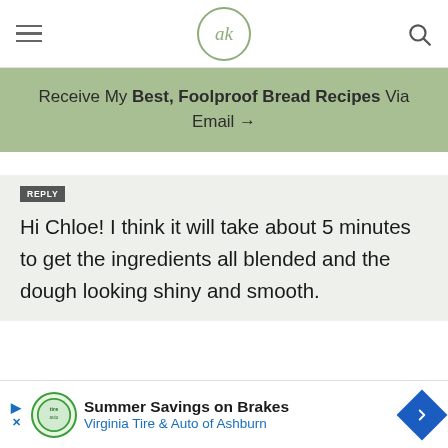ak (logo) — navigation bar with hamburger menu and search icon
Receive My Best, Foolproof Bread Recipes Via Email →
REPLY
Hi Chloe! I think it will take about 5 minutes to get the ingredients all blended and the dough looking shiny and smooth.
3,312
ROBIN KEIDEL – OCTOBER 22, 2020 @ 7:10 AM
REPLY
Hi Ali,
Summer Savings on Brakes Virginia Tire & Auto of Ashburn